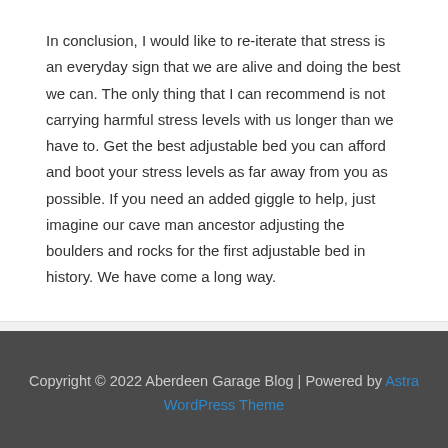In conclusion, I would like to re-iterate that stress is an everyday sign that we are alive and doing the best we can. The only thing that I can recommend is not carrying harmful stress levels with us longer than we have to. Get the best adjustable bed you can afford and boot your stress levels as far away from you as possible. If you need an added giggle to help, just imagine our cave man ancestor adjusting the boulders and rocks for the first adjustable bed in history. We have come a long way.
← Previous Post    Next Post →
Copyright © 2022 Aberdeen Garage Blog | Powered by Astra WordPress Theme